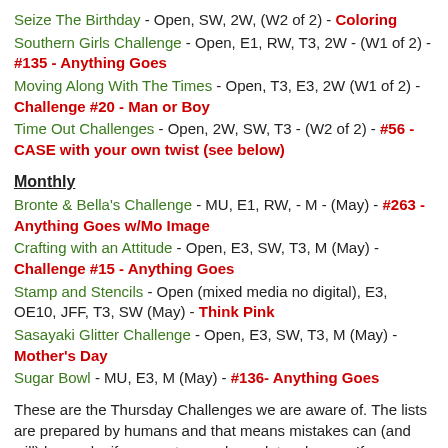Seize The Birthday - Open, SW, 2W, (W2 of 2) - Coloring
Southern Girls Challenge - Open, E1, RW, T3, 2W - (W1 of 2) - #135 - Anything Goes
Moving Along With The Times - Open, T3, E3, 2W (W1 of 2) - Challenge #20 - Man or Boy
Time Out Challenges - Open, 2W, SW, T3 - (W2 of 2) - #56 - CASE with your own twist (see below)
Monthly
Bronte & Bella's Challenge - MU, E1, RW, - M - (May) - #263 - Anything Goes w/Mo Image
Crafting with an Attitude - Open, E3, SW, T3, M (May) - Challenge #15 - Anything Goes
Stamp and Stencils - Open (mixed media no digital), E3, OE10, JFF, T3, SW (May) - Think Pink
Sasayaki Glitter Challenge - Open, E3, SW, T3, M (May) - Mother's Day
Sugar Bowl - MU, E3, M (May) - #136- Anything Goes
These are the Thursday Challenges we are aware of. The lists are prepared by humans and that means mistakes can (and will) be made; if you spot one, please let us know... If